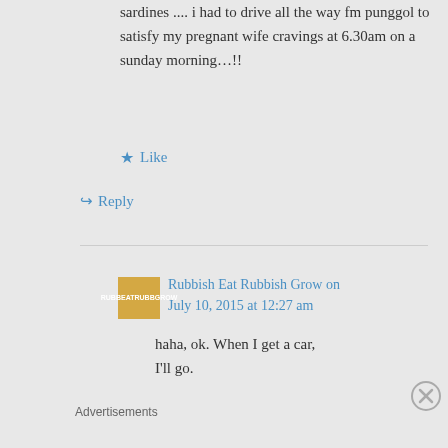sardines .... i had to drive all the way fm punggol to satisfy my pregnant wife cravings at 6.30am on a sunday morning…!!
★ Like
↪ Reply
Rubbish Eat Rubbish Grow on July 10, 2015 at 12:27 am
haha, ok. When I get a car, I'll go.
Advertisements